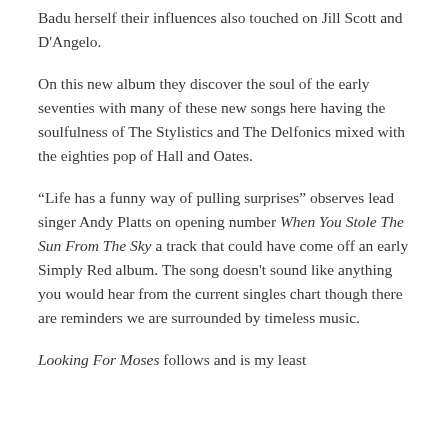Badu herself their influences also touched on Jill Scott and D'Angelo.
On this new album they discover the soul of the early seventies with many of these new songs here having the soulfulness of The Stylistics and The Delfonics mixed with the eighties pop of Hall and Oates.
“Life has a funny way of pulling surprises” observes lead singer Andy Platts on opening number When You Stole The Sun From The Sky a track that could have come off an early Simply Red album. The song doesn't sound like anything you would hear from the current singles chart though there are reminders we are surrounded by timeless music.
Looking For Moses follows and is my least